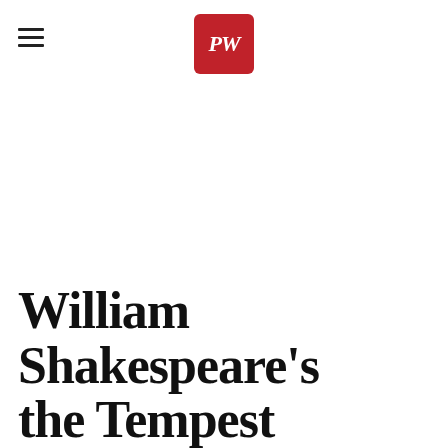PW (Publishers Weekly logo)
William Shakespeare's the Tempest